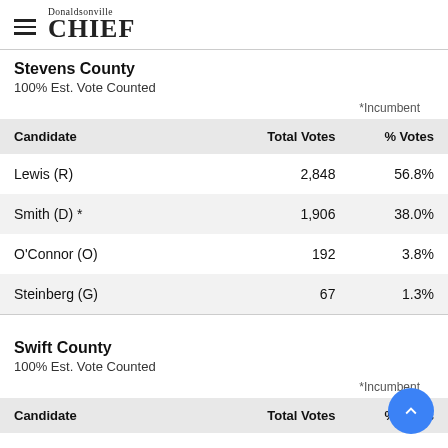Donaldsonville CHIEF
Stevens County
100% Est. Vote Counted
*Incumbent
| Candidate | Total Votes | % Votes |
| --- | --- | --- |
| Lewis (R) | 2,848 | 56.8% |
| Smith (D) * | 1,906 | 38.0% |
| O'Connor (O) | 192 | 3.8% |
| Steinberg (G) | 67 | 1.3% |
Swift County
100% Est. Vote Counted
*Incumbent
| Candidate | Total Votes | % Votes |
| --- | --- | --- |